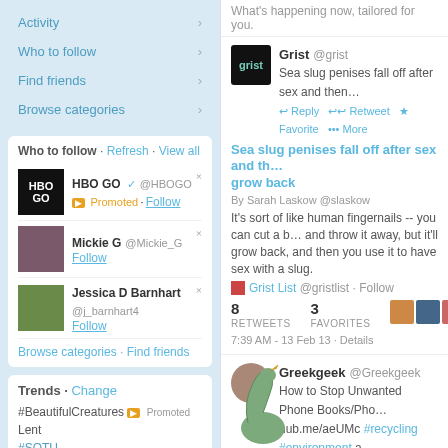Activity
Who to follow
Find friends
Browse categories
Who to follow · Refresh · View all
HBO GO @HBOGO Promoted · Follow
Mickie G @Mickie_G Follow
Jessica D Barnhart @j_barnhart4 Follow
Browse categories · Find friends
Trends · Change
#BeautifulCreatures [Promoted]
Lent
#SOTU
#jaidonotloselaptop
#followmeskip
Valentine's Day
#nyfw
Happy Hump Day
FCS
#nowplaying
© 2013 Twitter About Help Terms Privacy Blog Status Apps Resources Jobs Advertisers Businesses Media Developers
What's happening now, tailored for you.
Grist @grist
Sea slug penises fall off after sex and then…
↩ Reply ↩↩ Retweet ★ Favorite ••• More
Sea slug penises fall off after sex and th… grow back
By Sarah Laskow @slaskow
It's sort of like human fingernails -- you can cut a b… and throw it away, but it'll grow back, and then you use it to have sex with a slug.
Grist List @gristlist · Follow
8 RETWEETS   3 FAVORITES
7:39 AM - 13 Feb 13 · Details
Greekgeek @Greekgeek
How to Stop Unwanted Phone Books/Pho… hub.me/aeUMc #recycling #environment a… pic.twitter.com/XsHB88pP
↩ Reply  Delete ★ Favorite ••• More
[Figure (illustration): Cartoon showing a dinosaur saying 'Here's your phone directory, Ma'am!' and a person responding 'No tha… I alread… have on…']